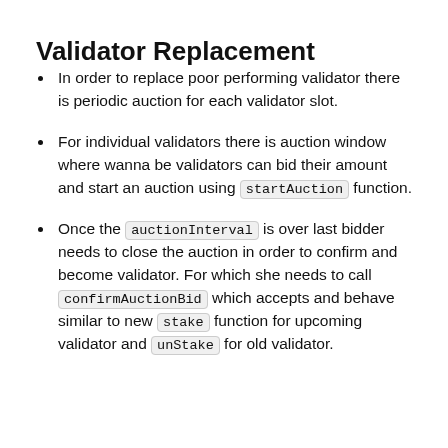Validator Replacement
In order to replace poor performing validator there is periodic auction for each validator slot.
For individual validators there is auction window where wanna be validators can bid their amount and start an auction using startAuction function.
Once the auctionInterval is over last bidder needs to close the auction in order to confirm and become validator. For which she needs to call confirmAuctionBid which accepts and behave similar to new stake function for upcoming validator and unStake for old validator.